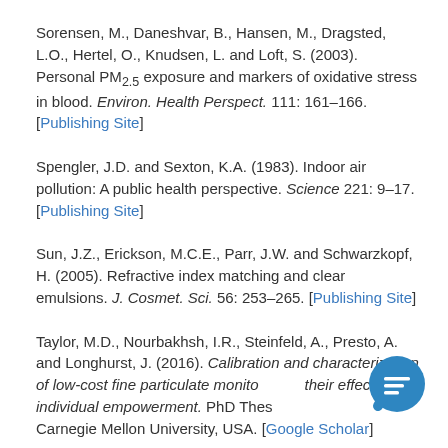Sorensen, M., Daneshvar, B., Hansen, M., Dragsted, L.O., Hertel, O., Knudsen, L. and Loft, S. (2003). Personal PM2.5 exposure and markers of oxidative stress in blood. Environ. Health Perspect. 111: 161–166. [Publishing Site]
Spengler, J.D. and Sexton, K.A. (1983). Indoor air pollution: A public health perspective. Science 221: 9–17. [Publishing Site]
Sun, J.Z., Erickson, M.C.E., Parr, J.W. and Schwarzkopf, H. (2005). Refractive index matching and clear emulsions. J. Cosmet. Sci. 56: 253–265. [Publishing Site]
Taylor, M.D., Nourbakhsh, I.R., Steinfeld, A., Presto, A. and Longhurst, J. (2016). Calibration and characterization of low-cost fine particulate monitors and their effect on individual empowerment. PhD Thesis, Carnegie Mellon University, USA. [Google Scholar]